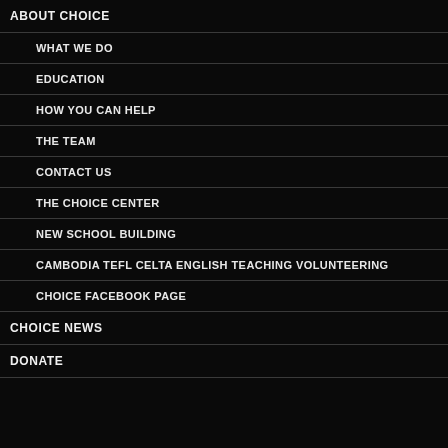ABOUT CHOICE
WHAT WE DO
EDUCATION
HOW YOU CAN HELP
THE TEAM
CONTACT US
THE CHOICE CENTER
NEW SCHOOL BUILDING
CAMBODIA TEFL CELTA ENGLISH TEACHING VOLUNTEERING
CHOICE FACEBOOK PAGE
CHOICE NEWS
DONATE